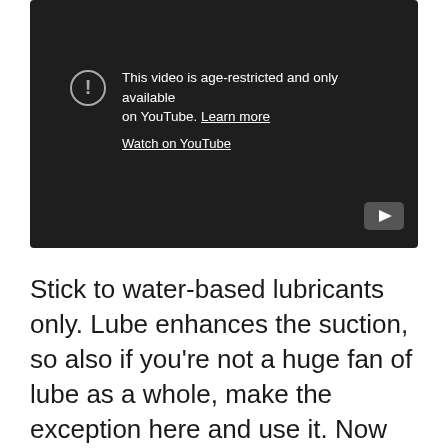[Figure (screenshot): YouTube age-restricted video embed showing dark background with warning icon, text 'This video is age-restricted and only available on YouTube. Learn more', a 'Watch on YouTube' link, and a YouTube play button logo in the bottom right corner.]
Stick to water-based lubricants only. Lube enhances the suction, so also if you're not a huge fan of lube as a whole, make the exception here and use it. Now you're all set to get Baci right into setting! Certainly, you can use this kind of toy in any kind of means